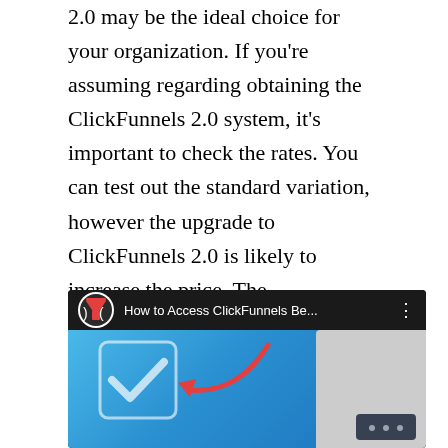2.0 may be the ideal choice for your organization. If you're assuming regarding obtaining the ClickFunnels 2.0 system, it's important to check the rates. You can test out the standard variation, however the upgrade to ClickFunnels 2.0 is likely to increase the price. The ClickFunnels 2.0 prices structure is a lot more eye-catching than its precursors.
[Figure (screenshot): YouTube-style video thumbnail showing 'How to Access ClickFunnels Be...' with a checkmark icon, red arrow, and mobile phone interface]